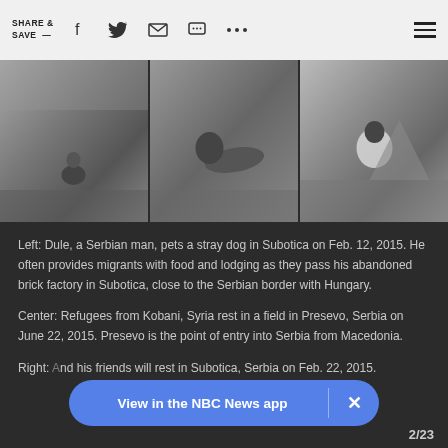SHARE & SAVE —
[Figure (photo): Three black-and-white photographs side by side: Left photo shows a person crouching near a stray dog in a muddy field; Center photo shows a person lying on grass looking up; Right photo shows a person wrapped in a blanket or sheet near tents.]
Left: Dule, a Serbian man, pets a stray dog in Subotica on Feb. 12, 2015. He often provides migrants with food and lodging as they pass his abandoned brick factory in Subotica, close to the Serbian border with Hungary.

Center: Refugees from Kobani, Syria rest in a field in Presevo, Serbia on June 22, 2015. Presevo is the point of entry into Serbia from Macedonia.

Right: [partially obscured] and his friends will rest in Subotica, Serbia on Feb. 22, 2015.
View in the NBC News app
2/23